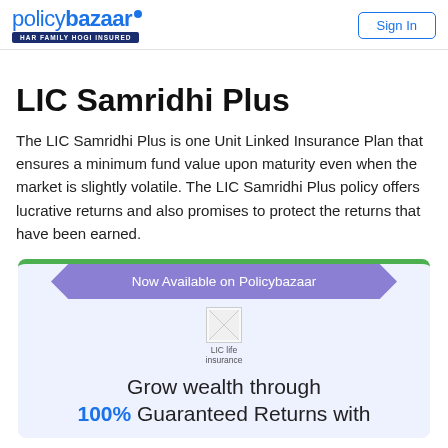policybazaar HAR FAMILY HOGI INSURED | Sign In
LIC Samridhi Plus
The LIC Samridhi Plus is one Unit Linked Insurance Plan that ensures a minimum fund value upon maturity even when the market is slightly volatile. The LIC Samridhi Plus policy offers lucrative returns and also promises to protect the returns that have been earned.
[Figure (infographic): Promotional card with green top border, purple ribbon banner reading 'Now Available on Policybazaar', LIC life insurance logo placeholder, and text 'Grow wealth through 100% Guaranteed Returns with']